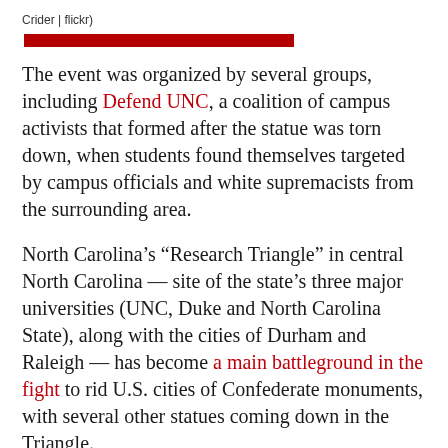Crider | flickr)
[Figure (other): Red horizontal decorative bar divider]
The event was organized by several groups, including Defend UNC, a coalition of campus activists that formed after the statue was torn down, when students found themselves targeted by campus officials and white supremacists from the surrounding area.
North Carolina's “Research Triangle” in central North Carolina — site of the state’s three major universities (UNC, Duke and North Carolina State), along with the cities of Durham and Raleigh — has become a main battleground in the fight to rid U.S. cities of Confederate monuments, with several other statues coming down in the Triangle.
At the evening protest last week, a young Black student welcomed the crowd, saying: “Thank you for being here, because you’re telling me my life